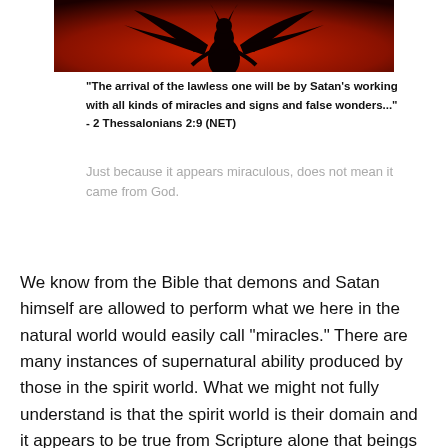[Figure (illustration): Dark silhouette of a demonic figure with wings against a red and black background]
“The arrival of the lawless one will be by Satan’s working with all kinds of miracles and signs and false wonders...” - 2 Thessalonians 2:9 (NET)
Just because it appears miraculous, does not mean it came from God.
We know from the Bible that demons and Satan himself are allowed to perform what we here in the natural world would easily call “miracles.” There are many instances of supernatural ability produced by those in the spirit world. What we might not fully understand is that the spirit world is their domain and it appears to be true from Scripture alone that beings in that world or dimension are simply doing what they do naturally. To them, it’s not anything out of the ordinary.